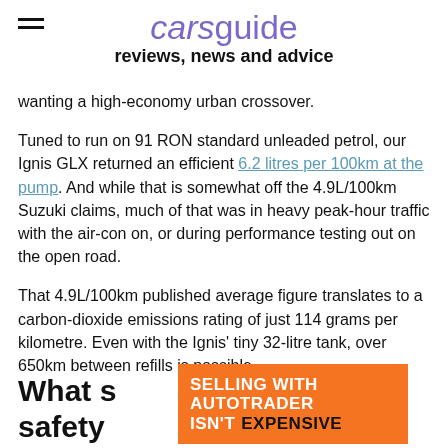carsguide reviews, news and advice
wanting a high-economy urban crossover.
Tuned to run on 91 RON standard unleaded petrol, our Ignis GLX returned an efficient 6.2 litres per 100km at the pump. And while that is somewhat off the 4.9L/100km Suzuki claims, much of that was in heavy peak-hour traffic with the air-con on, or during performance testing out on the open road.
That 4.9L/100km published average figure translates to a carbon-dioxide emissions rating of just 114 grams per kilometre. Even with the Ignis' tiny 32-litre tank, over 650km between refills is possible.
What s t safety
[Figure (other): Orange advertisement banner reading SELLING WITH AUTOTRADER ISN'T EXPENSIVE]